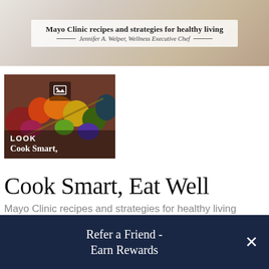[Figure (photo): Top portion of a book cover for 'Cook Smart, Eat Well' — Mayo Clinic recipes and strategies for healthy living by Jennifer A. Welper, Wellness Executive Chef. Beige/tan background with centered white card showing the title and author.]
[Figure (photo): Thumbnail image of colorful food (vegetables/kebabs) with a dark overlay at the bottom showing the text 'LOOK' and 'Cook Smart,' in white. An image icon appears at the top center.]
Cook Smart, Eat Well
Mayo Clinic recipes and strategies for healthy living
By Jennifer A. Welper
Refer a Friend - Earn Rewards